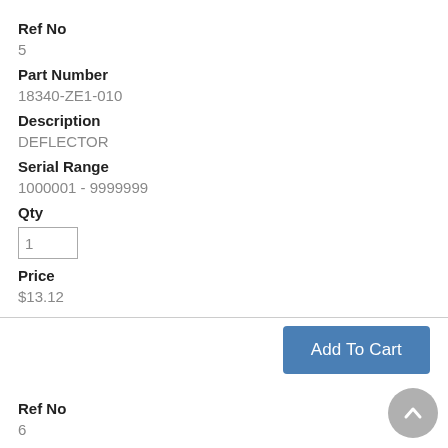Ref No
5
Part Number
18340-ZE1-010
Description
DEFLECTOR
Serial Range
1000001 - 9999999
Qty
Price
$13.12
Add To Cart
Ref No
6
Part Number
18355-ZE1-000
Description